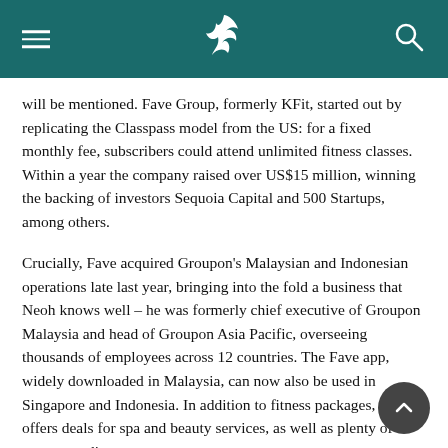will be mentioned. Fave Group, formerly KFit, started out by replicating the Classpass model from the US: for a fixed monthly fee, subscribers could attend unlimited fitness classes. Within a year the company raised over US$15 million, winning the backing of investors Sequoia Capital and 500 Startups, among others.
Crucially, Fave acquired Groupon's Malaysian and Indonesian operations late last year, bringing into the fold a business that Neoh knows well – he was formerly chief executive of Groupon Malaysia and head of Groupon Asia Pacific, overseeing thousands of employees across 12 countries. The Fave app, widely downloaded in Malaysia, can now also be used in Singapore and Indonesia. In addition to fitness packages, it offers deals for spa and beauty services, as well as plenty of restaurant discounts.
'It was natural for me to launch my company from Kuala Lumpur and expand to the rest of Southeast Asia,' says Neoh. 'Today our headquarters is in Kuala Lumpur but we also have offices in Singapore, Indonesia, Philippines and Hong Kong. I'm